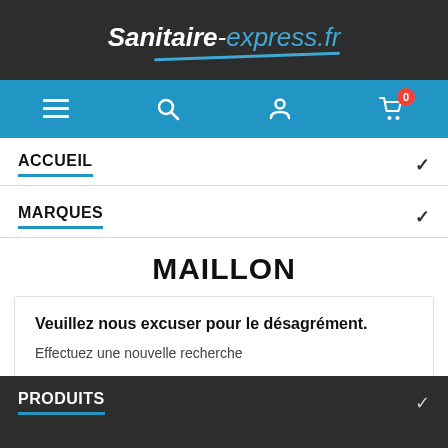Sanitaire-express.fr
[Figure (screenshot): Navigation bar with hamburger menu, search, user account, and shopping cart icons on a blue background]
ACCUEIL
MARQUES
MAILLON
Veuillez nous excuser pour le désagrément. Effectuez une nouvelle recherche
PRODUITS